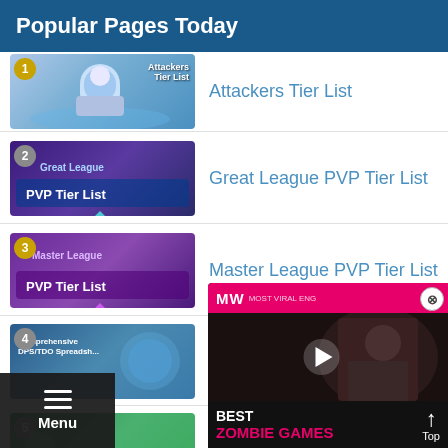Popular Pages Today
Attackers Tier List
Great League PVP Tier List
Master League PVP Tier List
Comprehensive DPS/TDO Spreadsheet
Pokemon List
Ultra League PVP T...
[Figure (screenshot): Video ad overlay showing 'Best Zombie Games' with MW logo on dark background with play button and female character]